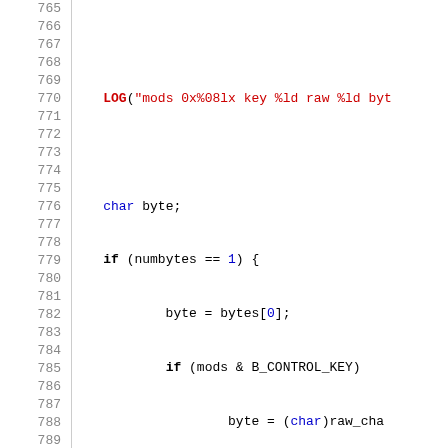[Figure (screenshot): Source code viewer showing C/C++ code lines 765-794 with syntax highlighting. Line numbers in gray on left, code on right with keywords in bold, strings in red, and comments in italic gray.]